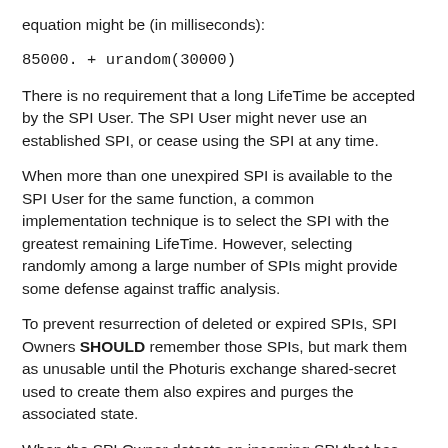equation might be (in milliseconds):
There is no requirement that a long LifeTime be accepted by the SPI User. The SPI User might never use an established SPI, or cease using the SPI at any time.
When more than one unexpired SPI is available to the SPI User for the same function, a common implementation technique is to select the SPI with the greatest remaining LifeTime. However, selecting randomly among a large number of SPIs might provide some defense against traffic analysis.
To prevent resurrection of deleted or expired SPIs, SPI Owners SHOULD remember those SPIs, but mark them as unusable until the Photuris exchange shared-secret used to create them also expires and purges the associated state.
When the SPI Owner detects an incoming SPI that has recently expired, but the associated exchange state has not